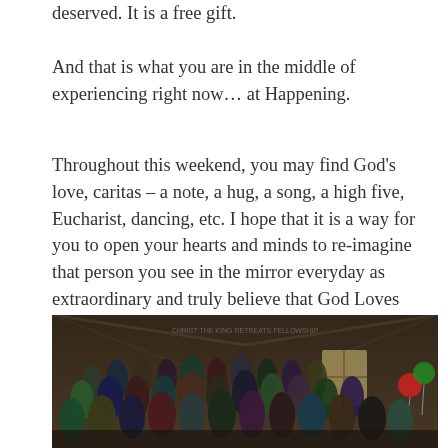deserved. It is a free gift.
And that is what you are in the middle of experiencing right now… at Happening.
Throughout this weekend, you may find God's love, caritas – a note, a hug, a song, a high five, Eucharist, dancing, etc. I hope that it is a way for you to open your hearts and minds to re-imagine that person you see in the mirror everyday as extraordinary and truly believe that God Loves You and So Do I.
[Figure (photo): A large group of teenagers and young adults posing together inside a barn for a group photo at a Happening retreat event. Red and green balloons are visible on the right side.]